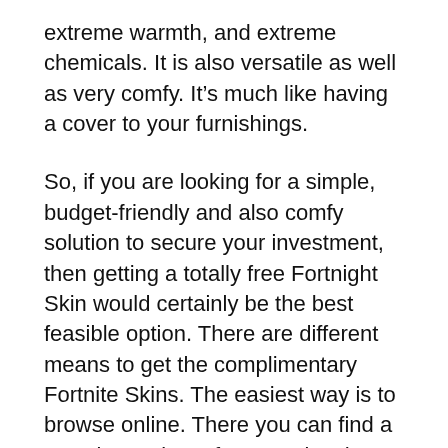extreme warmth, and extreme chemicals. It is also versatile as well as very comfy. It’s much like having a cover to your furnishings.
So, if you are looking for a simple, budget-friendly and also comfy solution to secure your investment, then getting a totally free Fortnight Skin would certainly be the best feasible option. There are different means to get the complimentary Fortnite Skins. The easiest way is to browse online. There you can find a massive variety of companies that are offering the Fortnite Skins totally free. Nonetheless, make certain to avail the deals before you purchase.
An additional option is to see your preferred buying